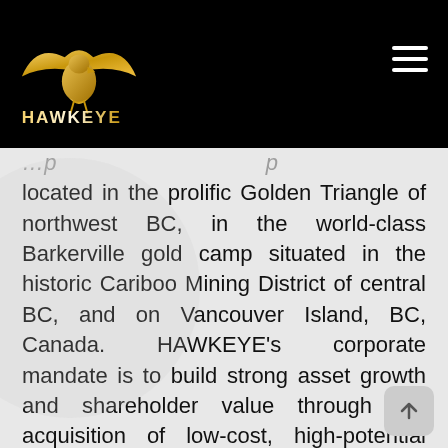[Figure (logo): Hawkeye Gold & Diamond Inc. logo — golden eagle with spread wings above the text HAWKEYE in gold/white on black background, with a hamburger menu icon on the right]
located in the prolific Golden Triangle of northwest BC, in the world-class Barkerville gold camp situated in the historic Cariboo Mining District of central BC, and on Vancouver Island, BC, Canada. HAWKEYE's corporate mandate is to build strong asset growth and shareholder value through the acquisition of low-cost, high-potential opportunities with discovery potential, and to manage its business in an environmentally responsible manner while contributing to the local community and economy.